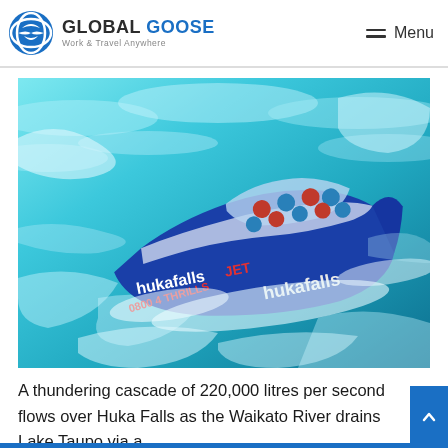GLOBAL GOOSE - Work & Travel Anywhere | Menu
[Figure (photo): Huka Falls Jet boat (blue) with passengers in red life jackets speeding through turquoise churning rapids water, with 'hukafalls JET' and 'hukafalls' branding and '0800 4 THRILLS' on the hull]
A thundering cascade of 220,000 litres per second flows over Huka Falls as the Waikato River drains Lake Taupo via a